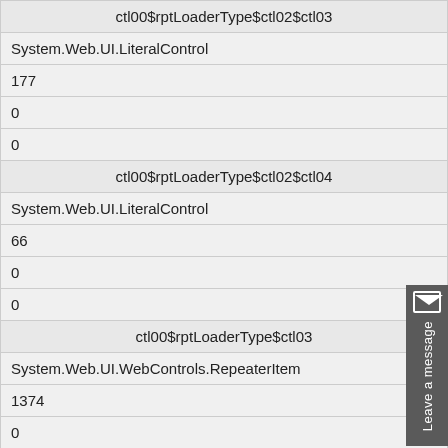| ctl00$rptLoaderType$ctl02$ctl03 |
| System.Web.UI.LiteralControl |
| 177 |
| 0 |
| 0 |
| ctl00$rptLoaderType$ctl02$ctl04 |
| System.Web.UI.LiteralControl |
| 66 |
| 0 |
| 0 |
| ctl00$rptLoaderType$ctl03 |
| System.Web.UI.WebControls.RepeaterItem |
| 1374 |
| 0 |
| 0 |